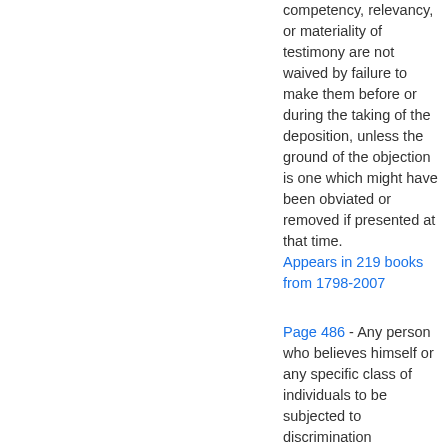competency, relevancy, or materiality of testimony are not waived by failure to make them before or during the taking of the deposition, unless the ground of the objection is one which might have been obviated or removed if presented at that time. Appears in 219 books from 1798-2007
Page 486 - Any person who believes himself or any specific class of individuals to be subjected to discrimination prohibited by this part may by himself or by a representative file with